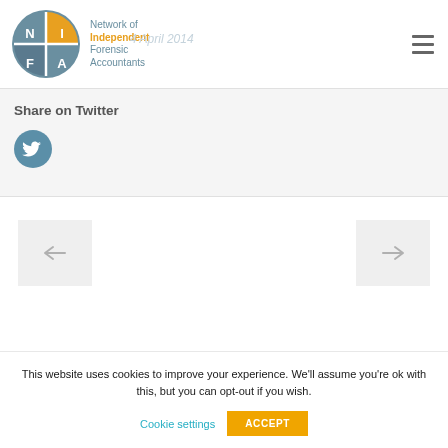[Figure (logo): NIFA - Network of Independent Forensic Accountants logo with circular icon divided into four quadrants (N, I, F, A) in blue/grey and orange/yellow colors, followed by text 'Network of Independent Forensic Accountants']
4 April 2014
Share on Twitter
[Figure (other): Twitter social sharing button - circular blue-grey icon with Twitter bird symbol]
[Figure (other): Navigation arrows - left arrow button and right arrow button on grey backgrounds for navigating between pages]
This website uses cookies to improve your experience. We'll assume you're ok with this, but you can opt-out if you wish.
Cookie settings
ACCEPT